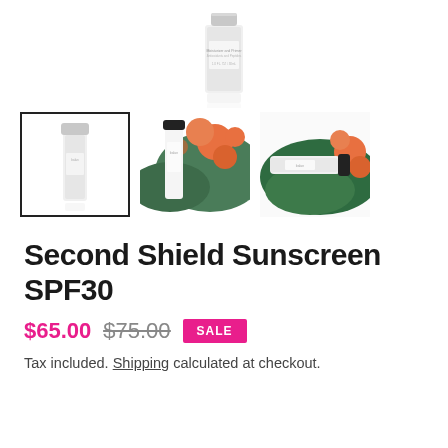[Figure (photo): Main product image of Second Shield Sunscreen SPF30 white bottle with silver cap on white background]
[Figure (photo): Three product thumbnail images: left shows single white bottle (selected with border), center shows bottle with orange flowers and green leaves, right shows bottle lying on green leaf with orange flowers]
Second Shield Sunscreen SPF30
$65.00 $75.00 SALE
Tax included. Shipping calculated at checkout.